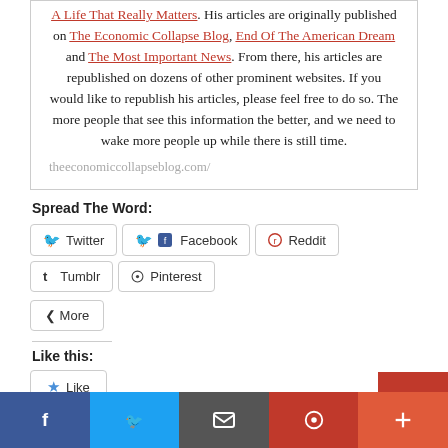A Life That Really Matters. His articles are originally published on The Economic Collapse Blog, End Of The American Dream and The Most Important News. From there, his articles are republished on dozens of other prominent websites. If you would like to republish his articles, please feel free to do so. The more people that see this information the better, and we need to wake more people up while there is still time.
theeconomiccollapseblog.com/
Spread The Word:
Twitter  Facebook  Reddit  Tumblr  Pinterest
More
Like this:
Like